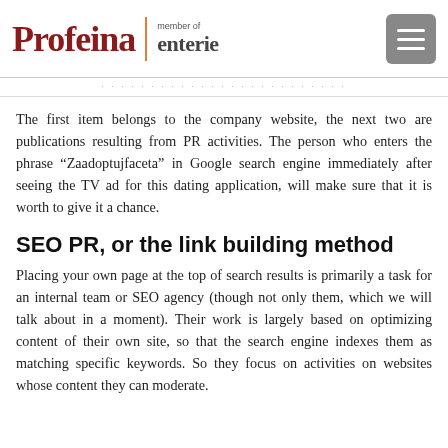Profeina | member of enterie
The first item belongs to the company website, the next two are publications resulting from PR activities. The person who enters the phrase “Zaadoptujfaceta” in Google search engine immediately after seeing the TV ad for this dating application, will make sure that it is worth to give it a chance.
SEO PR, or the link building method
Placing your own page at the top of search results is primarily a task for an internal team or SEO agency (though not only them, which we will talk about in a moment). Their work is largely based on optimizing content of their own site, so that the search engine indexes them as matching specific keywords. So they focus on activities on websites whose content they can moderate.